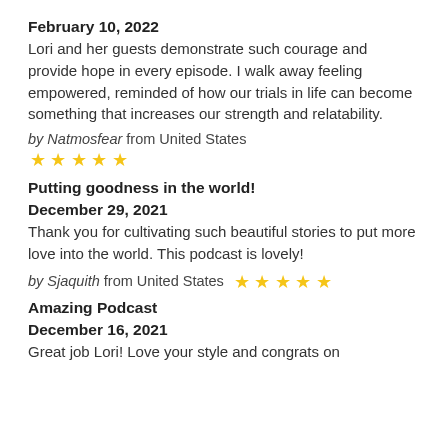February 10, 2022
Lori and her guests demonstrate such courage and provide hope in every episode. I walk away feeling empowered, reminded of how our trials in life can become something that increases our strength and relatability.
by Natmosfear from United States ★★★★★
Putting goodness in the world!
December 29, 2021
Thank you for cultivating such beautiful stories to put more love into the world. This podcast is lovely!
by Sjaquith from United States ★★★★★
Amazing Podcast
December 16, 2021
Great job Lori! Love your style and congrats on